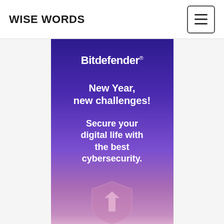WISE WORDS
[Figure (illustration): Bitdefender advertisement banner with purple gradient background. Shows Bitdefender logo at top, text 'New Year, new challenges!' and 'Secure your digital life with the best cybersecurity.' with a shield graphic at the bottom.]